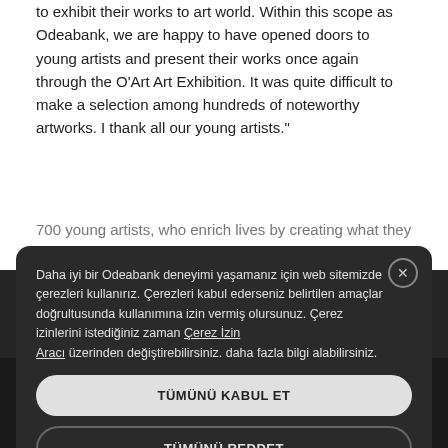to exhibit their works to art world. Within this scope as Odeabank, we are happy to have opened doors to young artists and present their works once again through the O'Art Art Exhibition. It was quite difficult to make a selection among hundreds of noteworthy artworks. I thank all our young artists."
700 young artists, who enrich lives by creating what they distill from their observations, emotions and criticisms, submitted their works for consideration in the open competition of Odeabank O'Art 5th National Painting Competition Exhibition, art lovers will have the opportunity to meet these young artists at the competition exhibition... The 5th National Painting Competition Exhibition can be visited until october 13 in O'Art, on the second floor of Odeabank Etiler Branch.
Daha iyi bir Odeabank deneyimi yaşamanız için web sitemizde çerezleri kullanırız. Çerezleri kabul ederseniz belirtilen amaçlar doğrultusunda kullanımına izin vermiş olursunuz. Çerez izinlerini istediğiniz zaman Çerez İzin Aracı üzerinden değiştirebilirsiniz. daha fazla bilgi alabilirsiniz.
TÜMÜNÜ KABUL ET
TÜMÜNÜ REDDET
Security   Agreements   Site Map   Disclaimer   Privacy Policy   Important Info   Society Survey